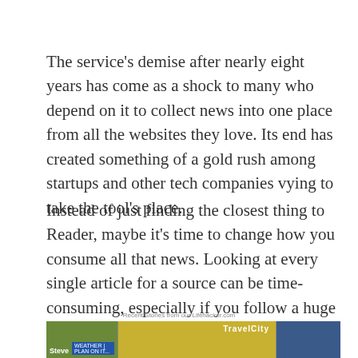The service's demise after nearly eight years has come as a shock to many who depend on it to collect news into one place from all the websites they love. Its end has created something of a gold rush among startups and other tech companies vying to take the tool's place.
Instead of just finding the closest thing to Reader, maybe it's time to change how you consume all that news. Looking at every single article for a source can be time-consuming, especially if you follow a huge number of sites, and a lot has changed since 2005.
Recent Stories from our Lifehacker.com
[Figure (screenshot): Screenshot of a news website or app interface showing weather and news sections with colorful imagery including Steve Harvey show branding]